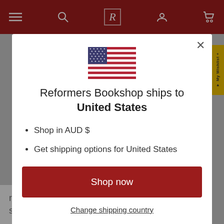[Figure (screenshot): Dark red navigation bar of Reformers Bookshop website with hamburger menu, search, R logo, account and cart icons]
[Figure (illustration): US flag SVG illustration]
Reformers Bookshop ships to United States
Shop in AUD $
Get shipping options for United States
Shop now
Change shipping country
reflection, with questions and prayers, and a space for journaling.